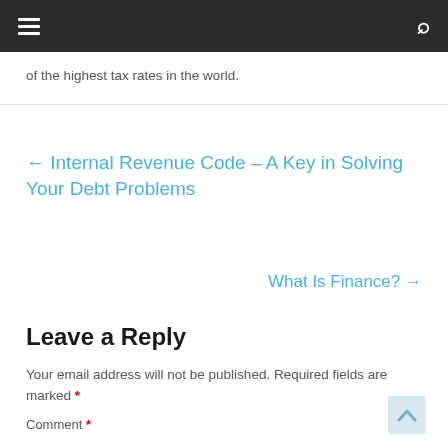Navigation bar with hamburger menu and search icon
of the highest tax rates in the world.
← Internal Revenue Code – A Key in Solving Your Debt Problems
What Is Finance? →
Leave a Reply
Your email address will not be published. Required fields are marked *
Comment *